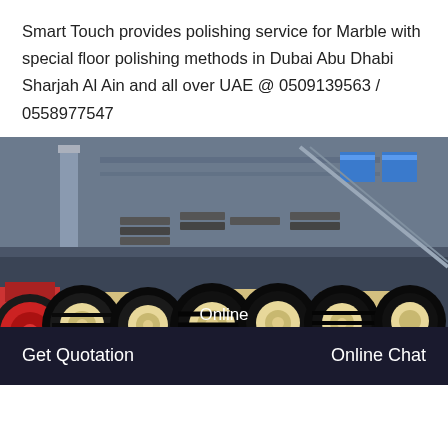Smart Touch provides polishing service for Marble with special floor polishing methods in Dubai Abu Dhabi Sharjah Al Ain and all over UAE @ 0509139563 / 0558977547
[Figure (photo): Industrial marble polishing machines with large black rubber wheels and cream-colored bodies lined up in a factory/warehouse setting.]
Online
Get Quotation
Online Chat